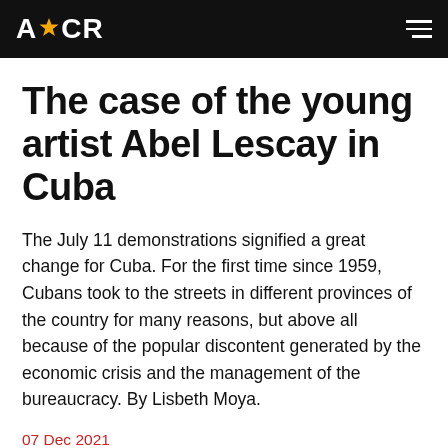ACR
The case of the young artist Abel Lescay in Cuba
The July 11 demonstrations signified a great change for Cuba. For the first time since 1959, Cubans took to the streets in different provinces of the country for many reasons, but above all because of the popular discontent generated by the economic crisis and the management of the bureaucracy. By Lisbeth Moya.
07 Dec 2021